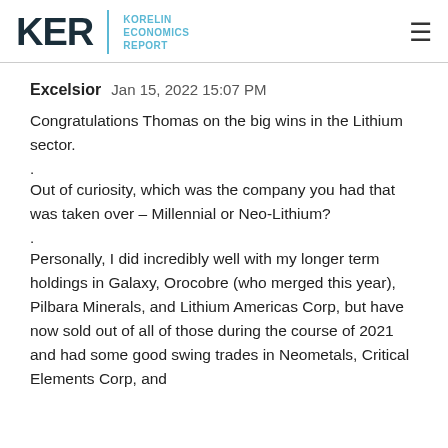KER KORELIN ECONOMICS REPORT
Excelsior Jan 15, 2022 15:07 PM
Congratulations Thomas on the big wins in the Lithium sector.
.
Out of curiosity, which was the company you had that was taken over – Millennial or Neo-Lithium?
.
Personally, I did incredibly well with my longer term holdings in Galaxy, Orocobre (who merged this year), Pilbara Minerals, and Lithium Americas Corp, but have now sold out of all of those during the course of 2021 and had some good swing trades in Neometals, Critical Elements Corp, and